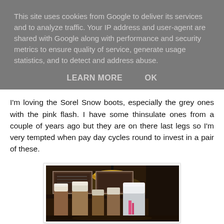This site uses cookies from Google to deliver its services and to analyze traffic. Your IP address and user-agent are shared with Google along with performance and security metrics to ensure quality of service, generate usage statistics, and to detect and address abuse.
LEARN MORE    OK
I'm loving the Sorel Snow boots, especially the grey ones with the pink flash. I have some thinsulate ones from a couple of years ago but they are on there last legs so I'm very tempted when pay day cycles round to invest in a pair of these.
[Figure (photo): A photo of multiple Sorel snow boots displayed on a dark wooden shelf in a dimly lit store, with a gold pendant lamp visible above.]